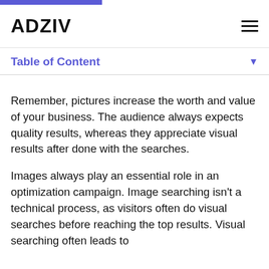ADZIV
Table of Content
Remember, pictures increase the worth and value of your business. The audience always expects quality results, whereas they appreciate visual results after done with the searches.
Images always play an essential role in an optimization campaign. Image searching isn't a technical process, as visitors often do visual searches before reaching the top results. Visual searching often leads to